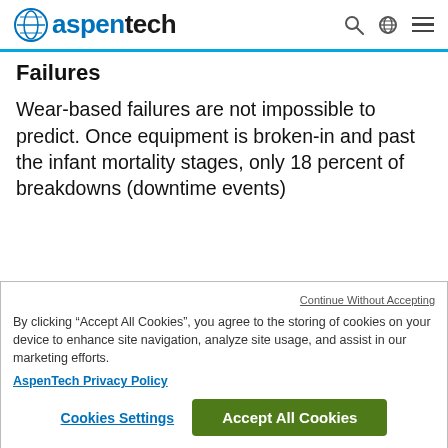aspentech
Failures
Wear-based failures are not impossible to predict. Once equipment is broken-in and past the infant mortality stages, only 18 percent of breakdowns (downtime events)
Continue Without Accepting
By clicking “Accept All Cookies”, you agree to the storing of cookies on your device to enhance site navigation, analyze site usage, and assist in our marketing efforts.
AspenTech Privacy Policy
Cookies Settings
Accept All Cookies